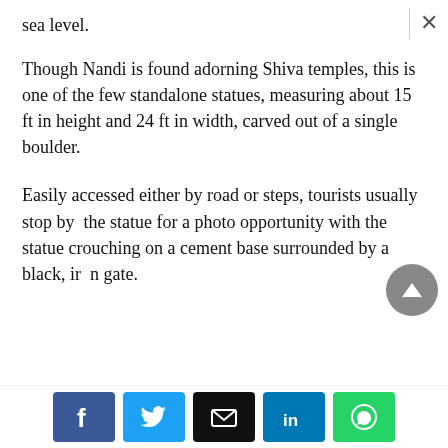sea level.
Though Nandi is found adorning Shiva temples, this is one of the few standalone statues, measuring about 15 ft in height and 24 ft in width, carved out of a single boulder.
Easily accessed either by road or steps, tourists usually stop by the statue for a photo opportunity with the statue crouching on a cement base surrounded by a black, iron gate.
Social share buttons: Facebook, Twitter, Email, LinkedIn, WhatsApp